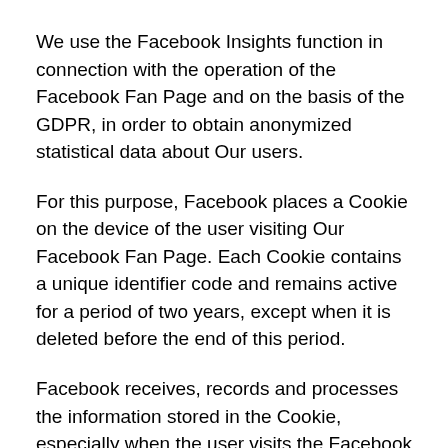We use the Facebook Insights function in connection with the operation of the Facebook Fan Page and on the basis of the GDPR, in order to obtain anonymized statistical data about Our users.
For this purpose, Facebook places a Cookie on the device of the user visiting Our Facebook Fan Page. Each Cookie contains a unique identifier code and remains active for a period of two years, except when it is deleted before the end of this period.
Facebook receives, records and processes the information stored in the Cookie, especially when the user visits the Facebook services, services that are provided by other members of the Facebook Fan Page and services by other companies that use Facebook